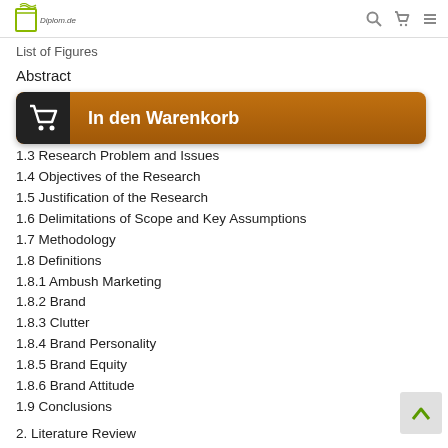Diplom.de
List of Figures
Abstract
[Figure (other): In den Warenkorb (Add to Cart) button with shopping cart icon, orange/brown gradient background]
1.3 Research Problem and Issues
1.4 Objectives of the Research
1.5 Justification of the Research
1.6 Delimitations of Scope and Key Assumptions
1.7 Methodology
1.8 Definitions
1.8.1 Ambush Marketing
1.8.2 Brand
1.8.3 Clutter
1.8.4 Brand Personality
1.8.5 Brand Equity
1.8.6 Brand Attitude
1.9 Conclusions
2. Literature Review